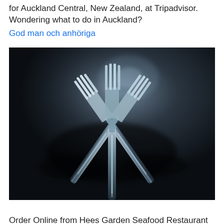for Auckland Central, New Zealand, at Tripadvisor. Wondering what to do in Auckland?
God man och anhöriga
[Figure (photo): Close-up photograph of three metallic forks arranged crossing each other against a dark background, with dramatic lighting highlighting the tines and handles.]
Order Online from Hees Garden Seafood Restaurant Chinese 500-900 Mount Eden Rd...